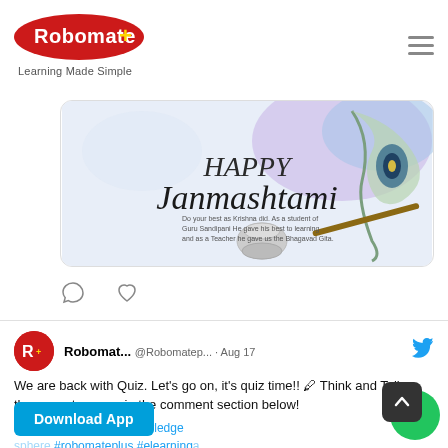[Figure (logo): Robomate+ logo - red ellipse with white text and yellow plus sign, tagline 'Learning Made Simple']
[Figure (illustration): Happy Janmashtami greeting card with peacock feather, flute, and decorative elements on watercolor background]
[Figure (screenshot): Social media post by Robomat... @Robomatep... Aug 17. Tweet with avatar, text about quiz, hashtags. Download App button and scroll-to-top button visible.]
We are back with Quiz. Let's go on, it's quiz time!! 🖊 Think and Tell us the correct answer in the comment section below!
#QuizTime #GameofKnowledge #sphere #robomateplus #elearning #Earth